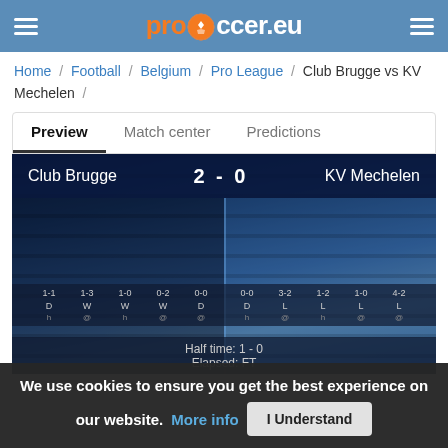prosoccer.eu
Home / Football / Belgium / Pro League / Club Brugge vs KV Mechelen /
Preview  Match center  Predictions
[Figure (screenshot): Stadium background image showing Club Brugge vs KV Mechelen with score 2-0, form rows, half time and elapsed time information]
We use cookies to ensure you get the best experience on our website. More info  I Understand